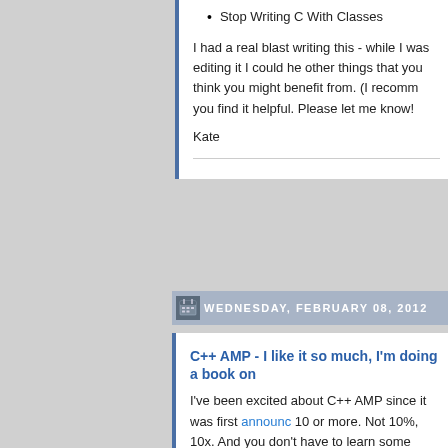Stop Writing C With Classes
I had a real blast writing this - while I was editing it I could he other things that you think you might benefit from. (I recomm you find it helpful. Please let me know!
Kate
WEDNESDAY, FEBRUARY 08, 2012
C++ AMP - I like it so much, I'm doing a book on
I've been excited about C++ AMP since it was first announced 10 or more. Not 10%, 10x. And you don't have to learn some
If you check my Concurrency category you'll see I've bee review. If you're interested, I've set up a page with some de